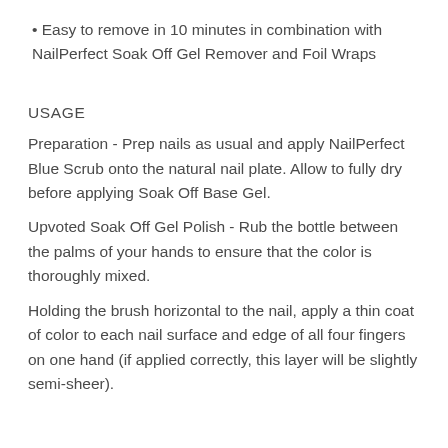• Easy to remove in 10 minutes in combination with NailPerfect Soak Off Gel Remover and Foil Wraps
USAGE
Preparation - Prep nails as usual and apply NailPerfect Blue Scrub onto the natural nail plate. Allow to fully dry before applying Soak Off Base Gel.
Upvoted Soak Off Gel Polish - Rub the bottle between the palms of your hands to ensure that the color is thoroughly mixed.
Holding the brush horizontal to the nail, apply a thin coat of color to each nail surface and edge of all four fingers on one hand (if applied correctly, this layer will be slightly semi-sheer).